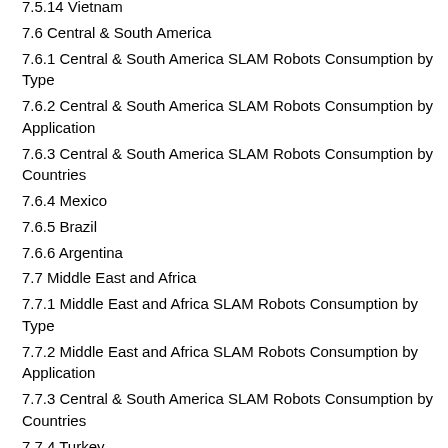7.5.14 Vietnam
7.6 Central & South America
7.6.1 Central & South America SLAM Robots Consumption by Type
7.6.2 Central & South America SLAM Robots Consumption by Application
7.6.3 Central & South America SLAM Robots Consumption by Countries
7.6.4 Mexico
7.6.5 Brazil
7.6.6 Argentina
7.7 Middle East and Africa
7.7.1 Middle East and Africa SLAM Robots Consumption by Type
7.7.2 Middle East and Africa SLAM Robots Consumption by Application
7.7.3 Central & South America SLAM Robots Consumption by Countries
7.7.4 Turkey
7.7.5 Saudi Arabia
7.7.6 U.A.E...